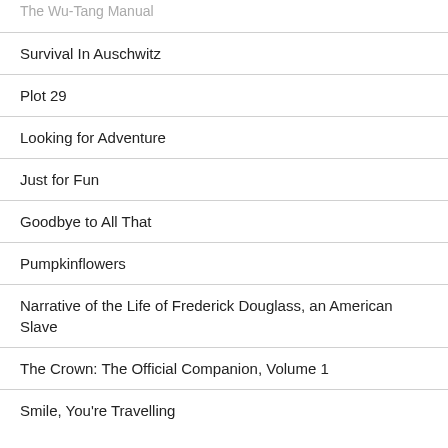The Wu-Tang Manual
Survival In Auschwitz
Plot 29
Looking for Adventure
Just for Fun
Goodbye to All That
Pumpkinflowers
Narrative of the Life of Frederick Douglass, an American Slave
The Crown: The Official Companion, Volume 1
Smile, You're Travelling